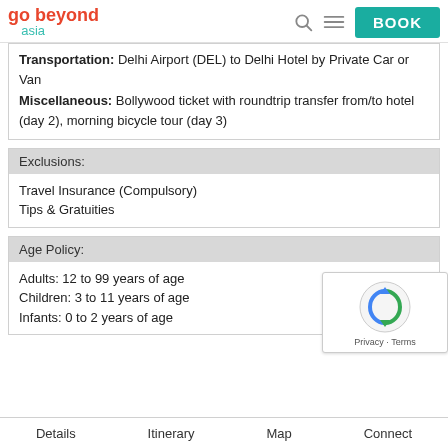go beyond asia | BOOK
Transportation: Delhi Airport (DEL) to Delhi Hotel by Private Car or Van
Miscellaneous: Bollywood ticket with roundtrip transfer from/to hotel (day 2), morning bicycle tour (day 3)
Exclusions:
Travel Insurance (Compulsory)
Tips & Gratuities
Age Policy:
Adults: 12 to 99 years of age
Children: 3 to 11 years of age
Infants: 0 to 2 years of age
Details | Itinerary | Map | Connect